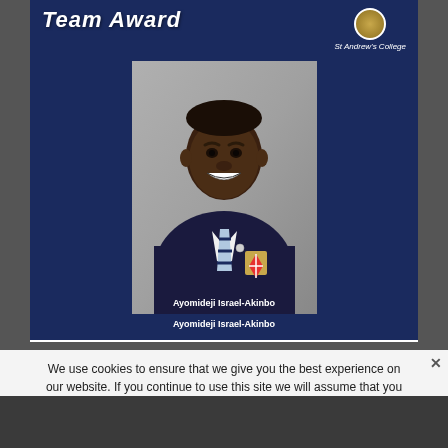Team Award
[Figure (photo): Portrait photo of Ayomideji Israel-Akinbo wearing a dark navy St Andrew's College blazer with school crest, white shirt, and light blue striped tie, smiling against a grey background.]
Ayomideji Israel-Akinbo
We use cookies to ensure that we give you the best experience on our website. If you continue to use this site we will assume that you are happy with it.
Admissions